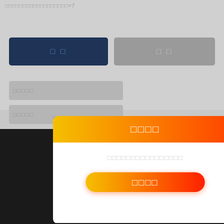□□□□□□□□□□□□□□□□□□=7
[Figure (screenshot): UI screenshot showing a modal dialog with gradient header (yellow to red/orange) containing Chinese placeholder text, a subtitle with placeholder characters, an orange gradient confirm button, and a phone number 400-821-8510 with service hours 9:00-19:00 on a dark background. Two colored circles (navy and dark green) on the right side.]